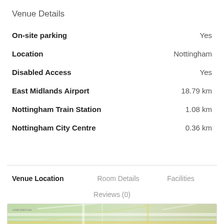Venue Details
| Field | Value |
| --- | --- |
| On-site parking | Yes |
| Location | Nottingham |
| Disabled Access | Yes |
| East Midlands Airport | 18.79 km |
| Nottingham Train Station | 1.08 km |
| Nottingham City Centre | 0.36 km |
Venue Location
Room Details
Facilities
Reviews (0)
[Figure (map): Map showing location in Nottingham city centre area]